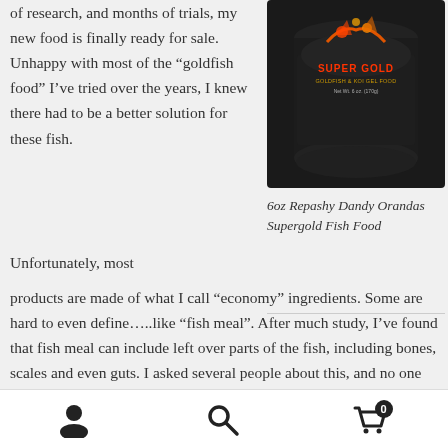of research, and months of trials, my new food is finally ready for sale. Unhappy with most of the “goldfish food” I’ve tried over the years, I knew there had to be a better solution for these fish.
[Figure (photo): Dark cylindrical container of Repashy Dandy Orandas Super Gold Goldfish & Koi Gel Food Formula, Net Wt. 6 oz. (170g), with colorful fish graphics on label.]
6oz Repashy Dandy Orandas Supergold Fish Food
Unfortunately, most products are made of what I call “economy” ingredients. Some are hard to even define…..like “fish meal”. After much study, I’ve found that fish meal can include left over parts of the fish, including bones, scales and even guts. I asked several people about this, and no one could tell me exactly what was in it, or even what species of fish (much